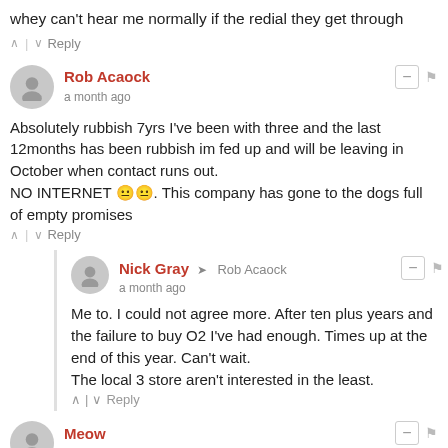whey can't hear me normally if the redial they get through
^ | v Reply
Rob Acaock — a month ago
Absolutely rubbish 7yrs I've been with three and the last 12months has been rubbish im fed up and will be leaving in October when contact runs out.
NO INTERNET 🙁🙁. This company has gone to the dogs full of empty promises
^ | v Reply
Nick Gray → Rob Acaock — a month ago
Me to. I could not agree more. After ten plus years and the failure to buy O2 I've had enough. Times up at the end of this year. Can't wait.
The local 3 store aren't interested in the least.
^ | v Reply
Meow — a month ago